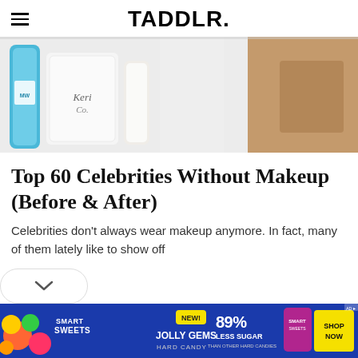TADDLR.
[Figure (photo): Close-up photo of beauty/skincare products including a blue bottle and white packaging with cursive text, on a light wooden surface.]
Top 60 Celebrities Without Makeup (Before & After)
Celebrities don't always wear makeup anymore. In fact, many of them lately like to show off
[Figure (other): Dropdown/expand button with chevron down icon]
[Figure (other): Advertisement banner for Smart Sweets Jolly Gems Hard Candy — 89% Less Sugar than other hard candies. Shop Now.]